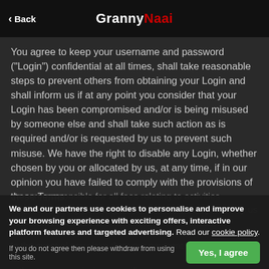Back | GrannyNaai
You agree to keep your username and password ("Login") confidential at all times, shall take reasonable steps to prevent others from obtaining your Login and shall inform us if at any point you consider that your Login has been compromised and/or is being misused by someone else and shall take such action as is required and/or is requested by us to prevent such misuse. We have the right to disable any Login, whether chosen by you or allocated by us, at any time, if in our opinion you have failed to comply with the provisions of these Terms.
You are responsible for all fees relating to activities conducted using your Login up till the time that you notify us of unauthorised use of
In the event of any claim that your payment card has been used without your permission, we will not use your payment use cards, we will assist the bank and police authorities with any
We and our partners use cookies to personalise and improve your browsing experience with exciting offers, interactive platform features and targeted advertising. Read our cookie policy.
If you do not agree then please withdraw from using this site.